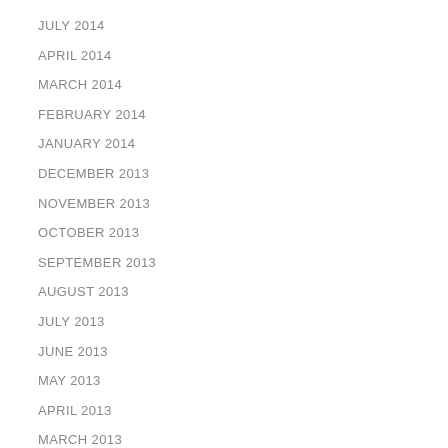JULY 2014
APRIL 2014
MARCH 2014
FEBRUARY 2014
JANUARY 2014
DECEMBER 2013
NOVEMBER 2013
OCTOBER 2013
SEPTEMBER 2013
AUGUST 2013
JULY 2013
JUNE 2013
MAY 2013
APRIL 2013
MARCH 2013
FEBRUARY 2013